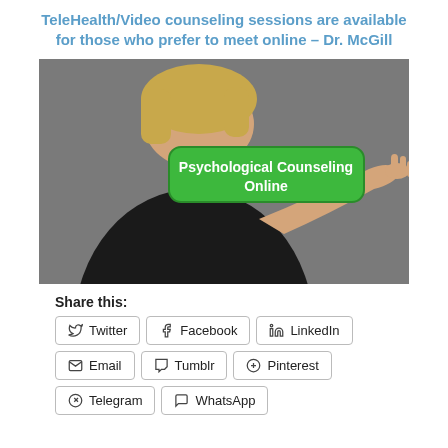TeleHealth/Video counseling sessions are available for those who prefer to meet online – Dr. McGill
[Figure (photo): Woman in black top pressing a green button labeled 'Psychological Counseling Online' on a virtual screen.]
Share this: